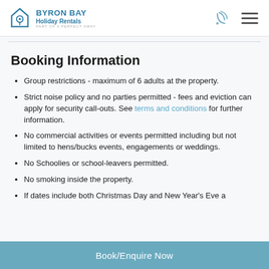BYRON BAY Holiday Rentals PART OF A PERFECT AWAY
Booking Information
Group restrictions - maximum of 6 adults at the property.
Strict noise policy and no parties permitted - fees and eviction can apply for security call-outs. See terms and conditions for further information.
No commercial activities or events permitted including but not limited to hens/bucks events, engagements or weddings.
No Schoolies or school-leavers permitted.
No smoking inside the property.
If dates include both Christmas Day and New Year's Eve a
Book/Enquire Now